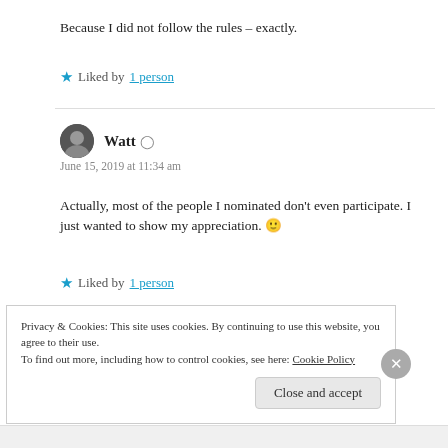Because I did not follow the rules – exactly.
★ Liked by 1 person
Watt
June 15, 2019 at 11:34 am
Actually, most of the people I nominated don't even participate. I just wanted to show my appreciation. 🙂
★ Liked by 1 person
Privacy & Cookies: This site uses cookies. By continuing to use this website, you agree to their use. To find out more, including how to control cookies, see here: Cookie Policy